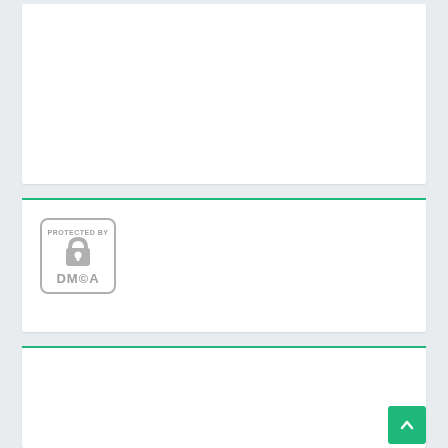[Figure (other): White card area at top of page, empty content area]
[Figure (logo): DMCA Protected By badge with padlock icon and DMCA text in rounded rectangle border]
You Link
You Link
You Link
You Link